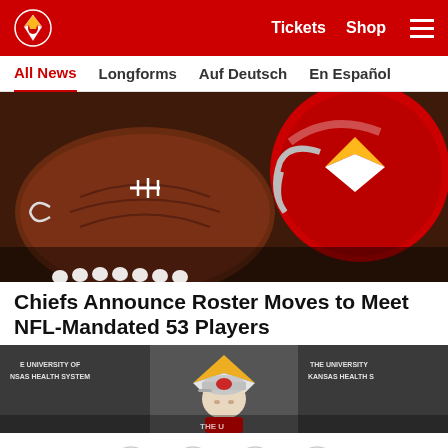Kansas City Chiefs — Tickets  Shop  [menu]
All News  Longforms  Auf Deutsch  En Español
[Figure (photo): Close-up of an NFL football and a red Kansas City Chiefs helmet]
Chiefs Announce Roster Moves to Meet NFL-Mandated 53 Players
[Figure (photo): Kansas City Chiefs coach at a press conference podium with The University of Kansas Health System banners in background]
Social share icons: Facebook, Twitter, Email, Link